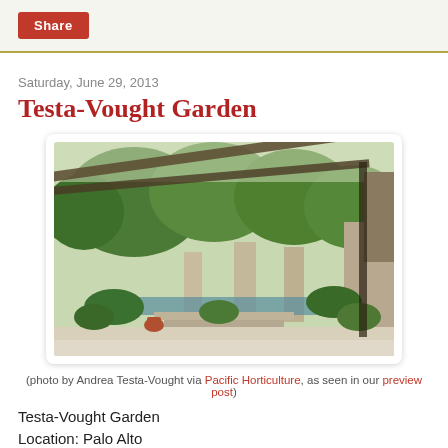Share
Saturday, June 29, 2013
Testa-Vought Garden
[Figure (photo): Garden photo showing a pergola/trellis structure over a patio area with lush greenery, trees, stone columns, steps and a pool in the background.]
(photo by Andrea Testa-Vought via Pacific Horticulture, as seen in our preview post)
Testa-Vought Garden
Location: Palo Alto